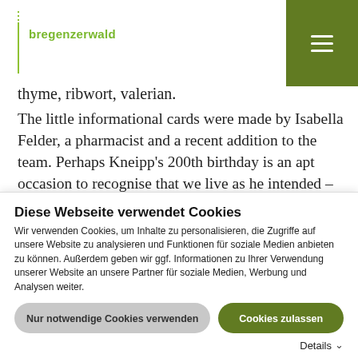bregenzerwald
thyme, ribwort, valerian.
The little informational cards were made by Isabella Felder, a pharmacist and a recent addition to the team. Perhaps Kneipp's 200th birthday is an apt occasion to recognise that we live as he intended – in harmony with nature and the soul. There are many good reasons to keep a cool head, especially in the hot summer at all the natural springs with which this region is blessed, at the Kneipp stepping pool, at the enchanting little mill in
Diese Webseite verwendet Cookies
Wir verwenden Cookies, um Inhalte zu personalisieren, die Zugriffe auf unsere Website zu analysieren und Funktionen für soziale Medien anbieten zu können. Außerdem geben wir ggf. Informationen zu Ihrer Verwendung unserer Website an unsere Partner für soziale Medien, Werbung und Analysen weiter.
Nur notwendige Cookies verwenden
Cookies zulassen
Details